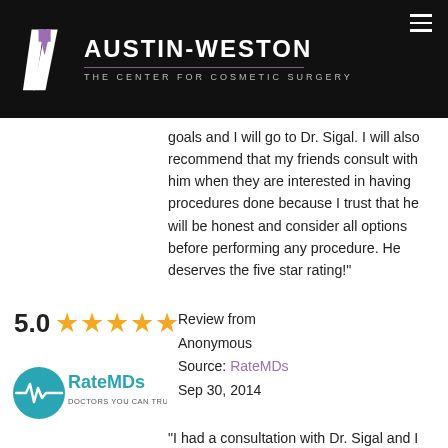[Figure (logo): Austin-Weston The Center for Cosmetic Surgery logo on black background with stylized AW monogram]
goals and I will go to Dr. Sigal. I will also recommend that my friends consult with him when they are interested in having procedures done because I trust that he will be honest and consider all options before performing any procedure. He deserves the five star rating!"
5.0 ★★★★★ Review from Anonymous Source: RateMDs Sep 30, 2014
[Figure (logo): RateMDs - Doctors You Can Trust logo]
"I had a consultation with Dr. Sigal and I